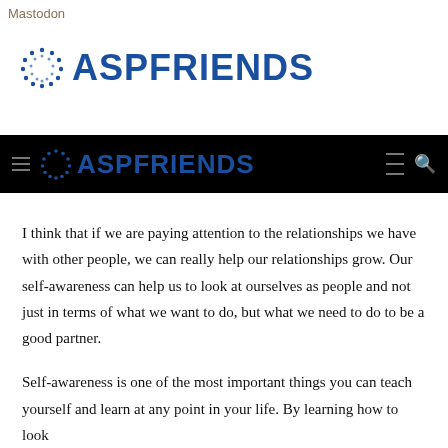Mastodon
[Figure (logo): ASPFRIENDS logo with circular icon and bold blue text]
[Figure (screenshot): Navigation bar with hamburger menu, ASPFRIENDS logo, hamburger menu and search icon on black background]
I think that if we are paying attention to the relationships we have with other people, we can really help our relationships grow. Our self-awareness can help us to look at ourselves as people and not just in terms of what we want to do, but what we need to do to be a good partner.
Self-awareness is one of the most important things you can teach yourself and learn at any point in your life. By learning how to look